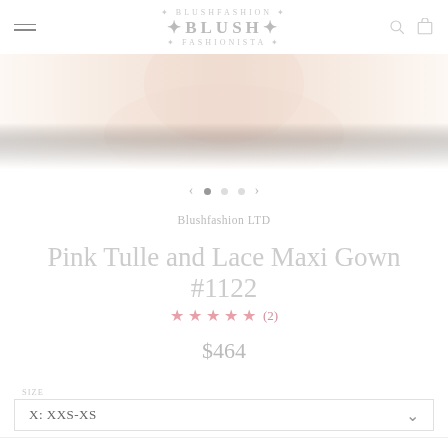BLUSH — Blushfashion navigation header with menu, logo, search, cart
[Figure (photo): Soft peach/blush pink hero image strip showing a model in a formal gown, very light and washed out]
Blushfashion LTD
Pink Tulle and Lace Maxi Gown #1122
★★★★★ (2)
$464
x: XXS-XS